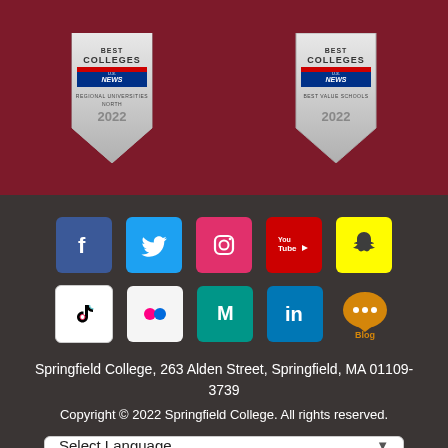[Figure (logo): US News Best Colleges badge - Regional Universities North 2022]
[Figure (logo): US News Best Colleges badge - Best Value Schools 2022]
[Figure (infographic): Social media icons: Facebook, Twitter, Instagram, YouTube, Snapchat, TikTok, Flickr, Medium, LinkedIn, Blog]
Springfield College, 263 Alden Street, Springfield, MA 01109-3739
Copyright © 2022 Springfield College. All rights reserved.
Select Language